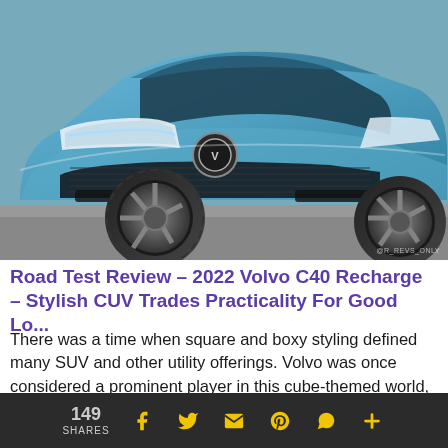[Figure (photo): Close-up front view of a blue 2022 Volvo C40 Recharge electric CUV parked on asphalt. The photo shows the front bumper, grille, headlights, and left front wheel with a dark multi-spoke alloy wheel. A watermark reading '@R_REVS_ONLY' appears in the bottom right corner.]
Road Test Review – 2022 Volvo C40 Recharge – Stylish CUV Trades Practicality For Good Lo...
There was a time when square and boxy styling defined many SUV and other utility offerings. Volvo was once considered a prominent player in this cube-themed world, thanks mainly to its lineup of estates. But as tastes have changed, the brutish slab-sided entries of yesteryear are rapidly being replaced by curvy rounded offerings aiming to achieve maximum
149 SHARES  f  t  [email]  p  [whatsapp]  +